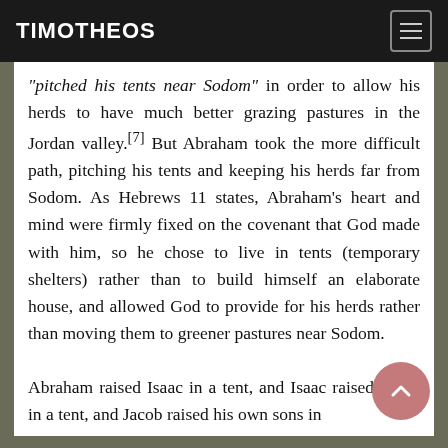TIMOTHEOS
“pitched his tents near Sodom” in order to allow his herds to have much better grazing pastures in the Jordan valley.[7] But Abraham took the more difficult path, pitching his tents and keeping his herds far from Sodom. As Hebrews 11 states, Abraham’s heart and mind were firmly fixed on the covenant that God made with him, so he chose to live in tents (temporary shelters) rather than to build himself an elaborate house, and allowed God to provide for his herds rather than moving them to greener pastures near Sodom.

Abraham raised Isaac in a tent, and Isaac raised Jacob in a tent, and Jacob raised his own sons in